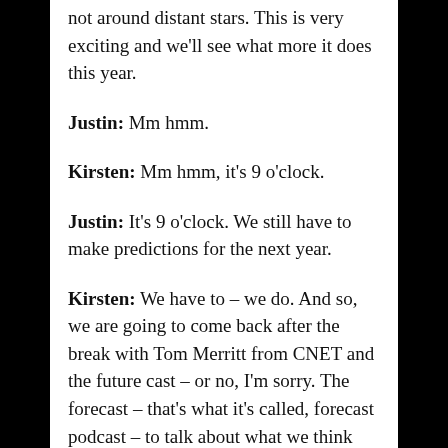not around distant stars. This is very exciting and we'll see what more it does this year.
Justin: Mm hmm.
Kirsten: Mm hmm, it's 9 o'clock.
Justin: It's 9 o'clock. We still have to make predictions for the next year.
Kirsten: We have to – we do. And so, we are going to come back after the break with Tom Merritt from CNET and the future cast – or no, I'm sorry. The forecast – that's what it's called, forecast podcast – to talk about what we think 2010 holds